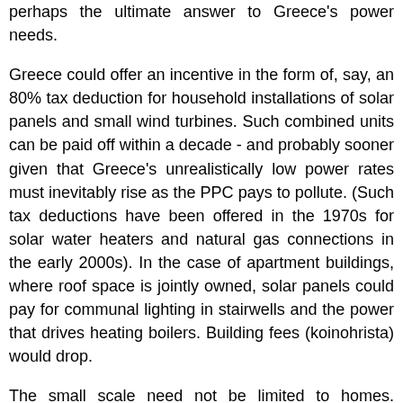perhaps the ultimate answer to Greece's power needs.
Greece could offer an incentive in the form of, say, an 80% tax deduction for household installations of solar panels and small wind turbines. Such combined units can be paid off within a decade - and probably sooner given that Greece's unrealistically low power rates must inevitably rise as the PPC pays to pollute. (Such tax deductions have been offered in the 1970s for solar water heaters and natural gas connections in the early 2000s). In the case of apartment buildings, where roof space is jointly owned, solar panels could pay for communal lighting in stairwells and the power that drives heating boilers. Building fees (koinohrista) would drop.
The small scale need not be limited to homes. Individual street lamps can carry their own solar panels, as can kiosks. The real obstacle to achieving this widespread use of renewable technology is neither financial (the government could underwrite public renewable projects without fear of default) nor a question of individual will (the Regulatory Authority for Energy, RAE, says it is sitting on approximately